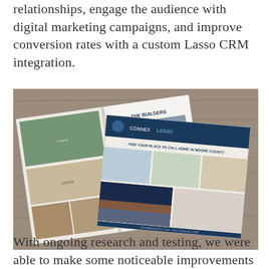relationships, engage the audience with digital marketing campaigns, and improve conversion rates with a custom Lasso CRM integration.
[Figure (photo): A photograph of printed marketing brochures and booklets laid out on a wooden surface. The materials appear to be real estate brochures featuring photos of homes, interiors, outdoor spaces, and people. One open booklet shows pages with 'THE BUILDERS' heading, and another shows community/lifestyle imagery.]
With ongoing research and testing, we were able to make some noticeable improvements to the user experience